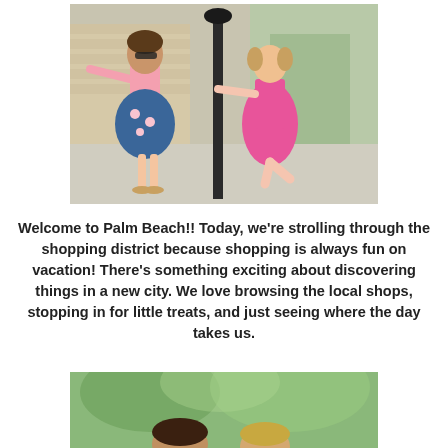[Figure (photo): Two young girls posing on a sidewalk near a black lamp post in a shopping district. One girl wears a pink top and floral skirt, the other wears a pink dress. Sunny outdoor urban setting.]
Welcome to Palm Beach!!  Today, we're strolling through the shopping district because shopping is always fun on vacation! There's something exciting about discovering things in a new city.  We love browsing the local shops, stopping in for little treats, and just seeing where the day takes us.
[Figure (photo): Partial photo visible at bottom: two children outdoors with blurred green tree foliage in background, cropped view showing tops of heads.]